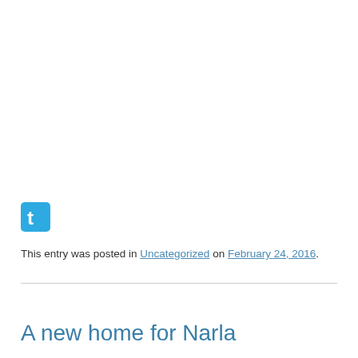[Figure (logo): Twitter icon — blue rounded square with white bird/letter t logo]
This entry was posted in Uncategorized on February 24, 2016.
A new home for Narla